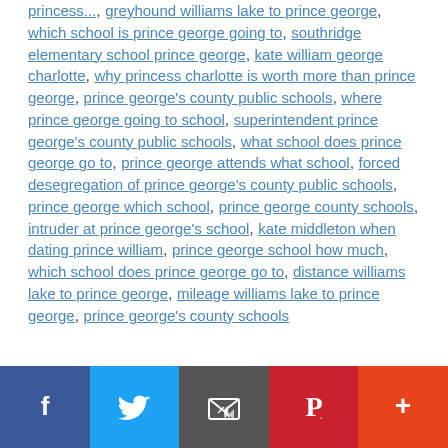princess..., greyhound williams lake to prince george, which school is prince george going to, southridge elementary school prince george, kate william george charlotte, why princess charlotte is worth more than prince george, prince george's county public schools, where prince george going to school, superintendent prince george's county public schools, what school does prince george go to, prince george attends what school, forced desegregation of prince george's county public schools, prince george which school, prince george county schools, intruder at prince george's school, kate middleton when dating prince william, prince george school how much, which school does prince george go to, distance williams lake to prince george, mileage williams lake to prince george, prince george's county schools
[Figure (other): Social media sharing bar with Facebook, Twitter, Email, Pinterest, and More buttons]